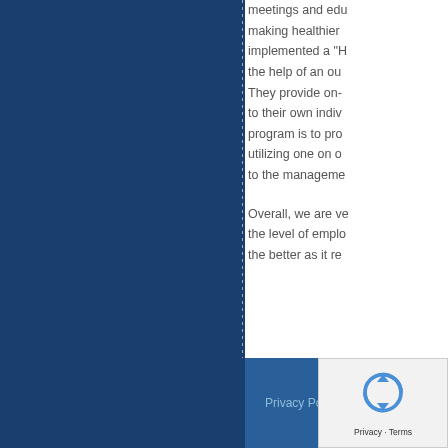meetings and edu... making healthier... implemented a "H... the help of an ou... They provide on-... to their own indiv... program is to pro... utilizing one on o... to the manageme...
Overall, we are ve... the level of emplo... the better as it re...
Privacy Policy | Terms & Conditions | ©2022